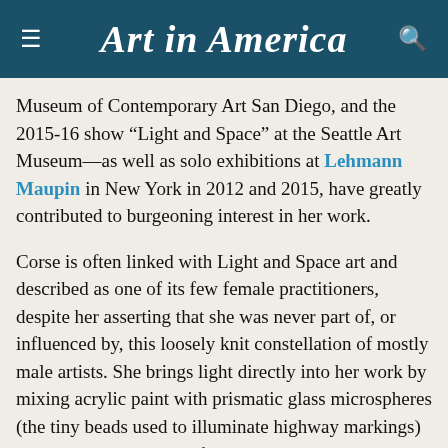Art in America
Museum of Contemporary Art San Diego, and the 2015-16 show “Light and Space” at the Seattle Art Museum—as well as solo exhibitions at Lehmann Maupin in New York in 2012 and 2015, have greatly contributed to burgeoning interest in her work.
Corse is often linked with Light and Space art and described as one of its few female practitioners, despite her asserting that she was never part of, or influenced by, this loosely knit constellation of mostly male artists. She brings light directly into her work by mixing acrylic paint with prismatic glass microspheres (the tiny beads used to illuminate highway markings) and miniature, highly reflective acrylic squares. Her austere, yet lush, and precisely rendered paintings, which have roots in Minimalism and the monochrome tradition, sparkle and shine and are constantly in flux, changing with the viewer’s